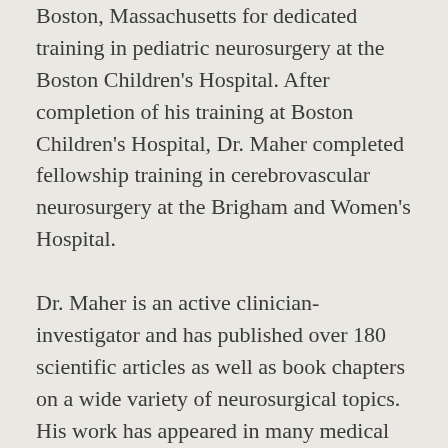Boston, Massachusetts for dedicated training in pediatric neurosurgery at the Boston Children's Hospital. After completion of his training at Boston Children's Hospital, Dr. Maher completed fellowship training in cerebrovascular neurosurgery at the Brigham and Women's Hospital.
Dr. Maher is an active clinician-investigator and has published over 180 scientific articles as well as book chapters on a wide variety of neurosurgical topics. His work has appeared in many medical journals including the Journal of Neurosurgery, Stroke, Neurosurgery, and Neurology.  He has served on the editorial board of the Journal of Neurosurgery Publishing Group.
Dr. Maher is a diplomate of both the American Board of Neurological Surgery as well as the American Board